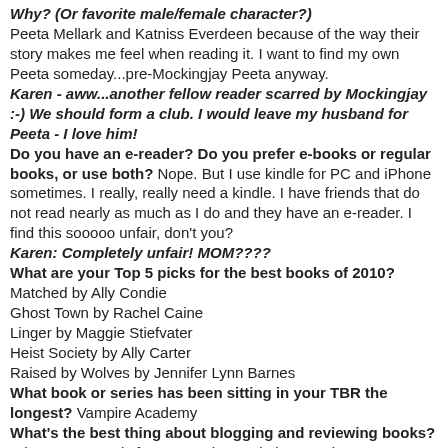Why? (Or favorite male/female character?) Peeta Mellark and Katniss Everdeen because of the way their story makes me feel when reading it. I want to find my own Peeta someday...pre-Mockingjay Peeta anyway.
Karen - aww...another fellow reader scarred by Mockingjay :-) We should form a club. I would leave my husband for Peeta - I love him!
Do you have an e-reader? Do you prefer e-books or regular books, or use both? Nope. But I use kindle for PC and iPhone sometimes. I really, really need a kindle. I have friends that do not read nearly as much as I do and they have an e-reader. I find this sooooo unfair, don't you?
Karen: Completely unfair! MOM????
What are your Top 5 picks for the best books of 2010?
Matched by Ally Condie
Ghost Town by Rachel Caine
Linger by Maggie Stiefvater
Heist Society by Ally Carter
Raised by Wolves by Jennifer Lynn Barnes
What book or series has been sitting in your TBR the longest? Vampire Academy
What's the best thing about blogging and reviewing books? When I get a reply from an author I admire on twitter